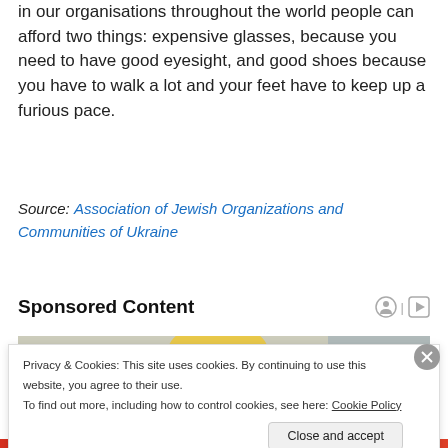in our organisations throughout the world people can afford two things: expensive glasses, because you need to have good eyesight, and good shoes because you have to walk a lot and your feet have to keep up a furious pace.
Source: Association of Jewish Organizations and Communities of Ukraine
Sponsored Content
[Figure (photo): Photo of a blonde woman looking down, used in a sponsored content advertisement]
Privacy & Cookies: This site uses cookies. By continuing to use this website, you agree to their use.
To find out more, including how to control cookies, see here: Cookie Policy
Close and accept